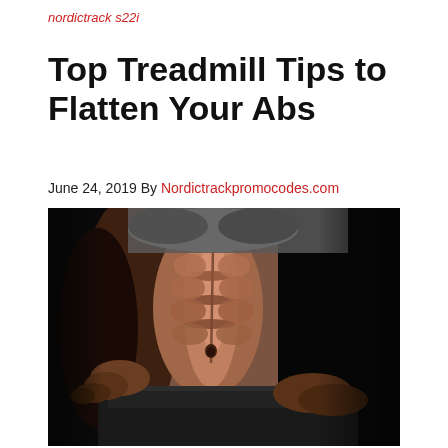nordictrack s22i
Top Treadmill Tips to Flatten Your Abs
June 24, 2019 By Nordictrackpromocodes.com
[Figure (photo): Close-up photo of a fit person showing toned abs and core, wearing a gray sports bra and dark shorts, hands on hips, against a dark background.]